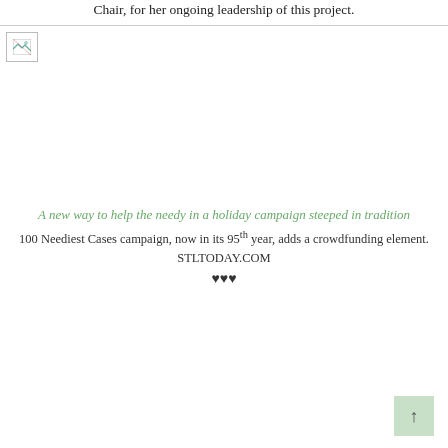Chair, for her ongoing leadership of this project.
[Figure (photo): A photograph (broken/unloaded image placeholder) taking up most of the upper-middle portion of the page.]
A new way to help the needy in a holiday campaign steeped in tradition
100 Neediest Cases campaign, now in its 95th year, adds a crowdfunding element.
STLTODAY.COM
♥♥♥